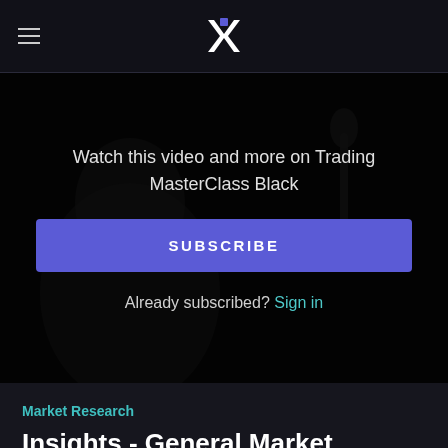Trading MasterClass Black — navigation header with logo and hamburger menu
[Figure (screenshot): Dark video thumbnail showing a podcast/studio scene with a person at a microphone, heavily dimmed. Overlaid with subscription prompt.]
Watch this video and more on Trading MasterClass Black
SUBSCRIBE
Already subscribed? Sign in
Market Research
Insights - General Market Overview